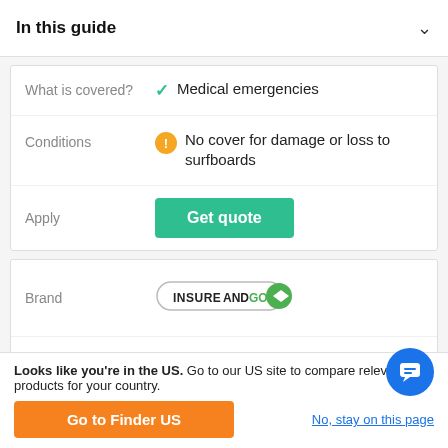In this guide
|  |  |
| --- | --- |
| What is covered? | ✓ Medical emergencies |
| Conditions | ⚠ No cover for damage or loss to surfboards |
| Apply | Get quote |
|  |  |
| --- | --- |
| Brand | INSUREANDGO |
| What is covered? | ✓ Medical emergencies |
Looks like you're in the US. Go to our US site to compare relevant products for your country.
Go to Finder US
No, stay on this page